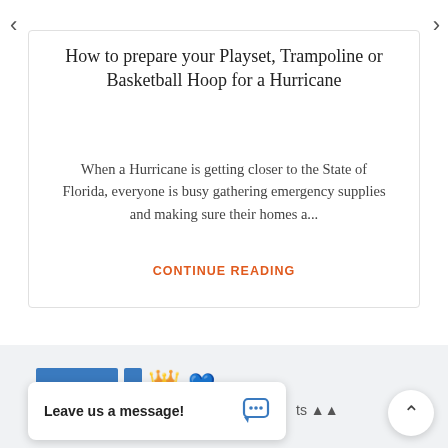How to prepare your Playset, Trampoline or Basketball Hoop for a Hurricane
When a Hurricane is getting closer to the State of Florida, everyone is busy gathering emergency supplies and making sure their homes a...
CONTINUE READING
[Figure (screenshot): Chat popup saying 'Leave us a message!' with blue chat icon]
[Figure (screenshot): Scroll-to-top button with up arrow]
cts